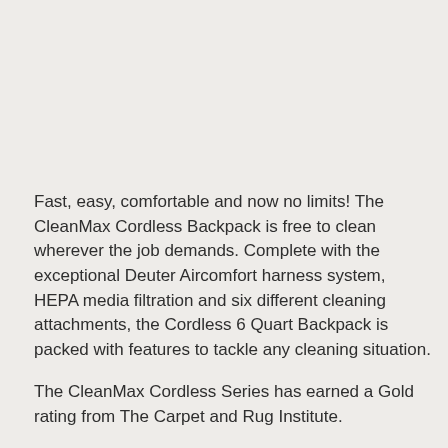Fast, easy, comfortable and now no limits! The CleanMax Cordless Backpack is free to clean wherever the job demands. Complete with the exceptional Deuter Aircomfort harness system, HEPA media filtration and six different cleaning attachments, the Cordless 6 Quart Backpack is packed with features to tackle any cleaning situation.
The CleanMax Cordless Series has earned a Gold rating from The Carpet and Rug Institute.
FEATURES:
State-of-the-art lithium ion battery technology for up to 55 minutes of continuous cleaning and over 900 charge cycles.
Battery can be fully recharged in Less than 2.5 hours